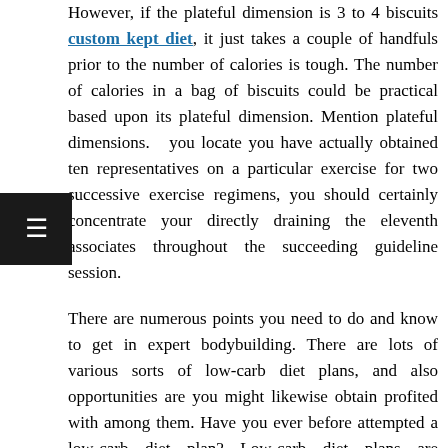However, if the plateful dimension is 3 to 4 biscuits custom kept diet, it just takes a couple of handfuls prior to the number of calories is tough. The number of calories in a bag of biscuits could be practical based upon its plateful dimension. Mention plateful dimensions. you locate you have actually obtained ten representatives on a particular exercise for two successive exercise regimens, you should certainly concentrate your directly draining the eleventh associates throughout the succeeding guideline session.
There are numerous points you need to do and know to get in expert bodybuilding. There are lots of various sorts of low-carb diet plans, and also opportunities are you might likewise obtain profited with among them. Have you ever before attempted a low-carb diet plan? Low-carb diet plans are frequently high in fat and also healthy protein. Fights sugar desires: These diet regimens assist reduce carbohydrate and also sugar desires, and also as an outcome, might advertise